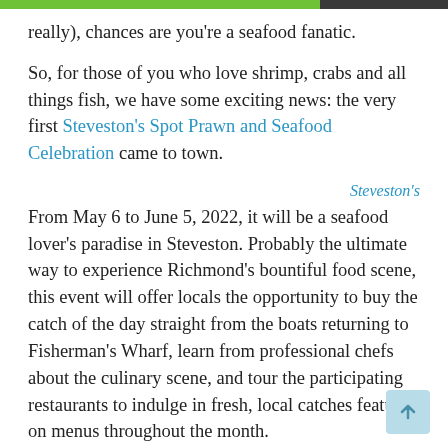really), chances are you're a seafood fanatic.
So, for those of you who love shrimp, crabs and all things fish, we have some exciting news: the very first Steveston's Spot Prawn and Seafood Celebration came to town.
Steveston's
From May 6 to June 5, 2022, it will be a seafood lover's paradise in Steveston. Probably the ultimate way to experience Richmond's bountiful food scene, this event will offer locals the opportunity to buy the catch of the day straight from the boats returning to Fisherman's Wharf, learn from professional chefs about the culinary scene, and tour the participating restaurants to indulge in fresh, local catches featured on menus throughout the month.
Basically, if you've been looking for an excuse to visit Steveston, the ridiculously popular, food-rich waterfront town of Richmond, or lose yourself in a seafood feast, this is your chance to accomplish both at once.